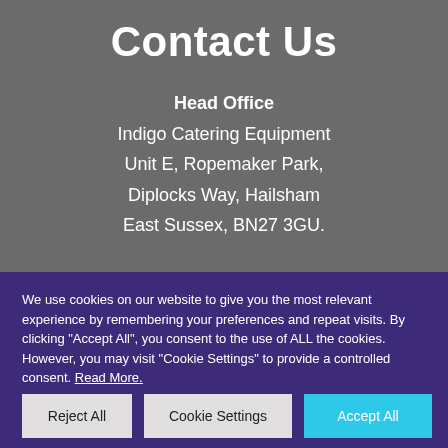Contact Us
Head Office
Indigo Catering Equipment
Unit E, Ropemaker Park,
Diplocks Way, Hailsham
East Sussex, BN27 3GU.
We use cookies on our website to give you the most relevant experience by remembering your preferences and repeat visits. By clicking "Accept All", you consent to the use of ALL the cookies. However, you may visit "Cookie Settings" to provide a controlled consent. Read More.
Reject All | Cookie Settings | Accept All